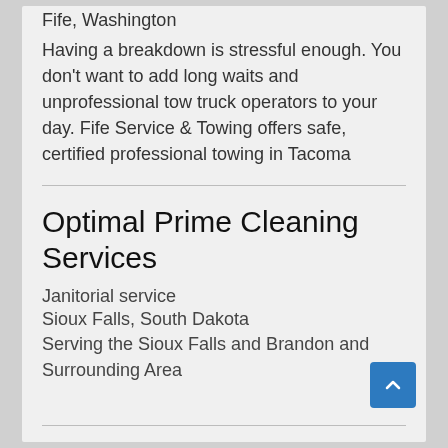Fife, Washington
Having a breakdown is stressful enough. You don't want to add long waits and unprofessional tow truck operators to your day. Fife Service & Towing offers safe, certified professional towing in Tacoma
Optimal Prime Cleaning Services
Janitorial service
Sioux Falls, South Dakota
Serving the Sioux Falls and Brandon and Surrounding Area